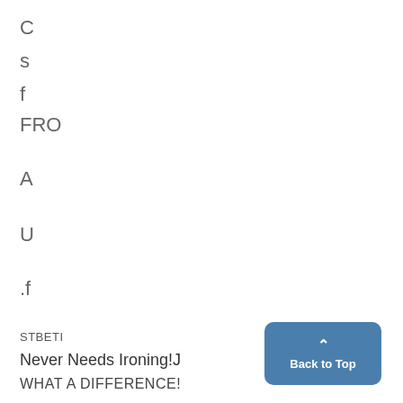C
s
f
FRO
A
U
.f
STBETI
Never Needs Ironing!J
WHAT A DIFFERENCE!